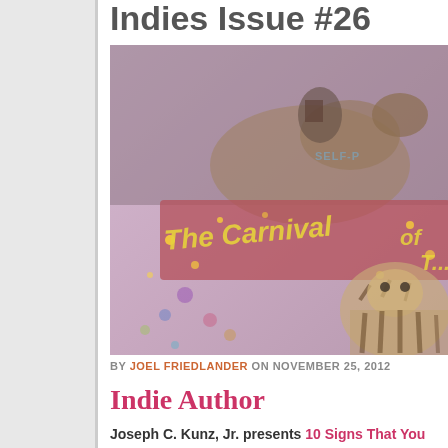Indies Issue #26
[Figure (illustration): Book cover image showing 'The Carnival of...' with a tiger and horse, carnival themed with purple/pink background and yellow stars, text 'SELF-P...' visible in top right corner]
BY JOEL FRIEDLANDER ON NOVEMBER 25, 2012
Indie Author
Joseph C. Kunz, Jr. presents 10 Signs That You Are... ported at Kunz on Publishing, saying ... As an indi...